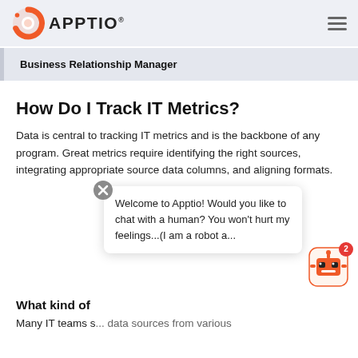APPTIO
Business Relationship Manager
How Do I Track IT Metrics?
Data is central to tracking IT metrics and is the backbone of any program. Great metrics require identifying the right sources, integrating appropriate source data columns, and aligning formats.
[Figure (screenshot): Chat popup overlay with close button (X in circle) and message: 'Welcome to Apptio! Would you like to chat with a human? You won't hurt my feelings...(I am a robot a...' with orange robot chatbot icon in the bottom right corner with red badge showing '2'.]
What kind of
Many IT teams s... data sources from various